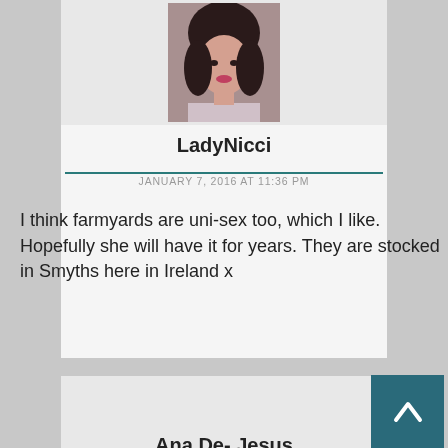[Figure (photo): Profile avatar photo of LadyNicci, a young woman with dark hair]
LadyNicci
JANUARY 7, 2016 AT 11:36 PM
I think farmyards are uni-sex too, which I like. Hopefully she will have it for years. They are stocked in Smyths here in Ireland x
[Figure (photo): Profile avatar photo of Ana De- Jesus, a young woman in a pink outfit with colorful background]
Ana De- Jesus
JANUARY 7, 2016 AT 6:45 PM